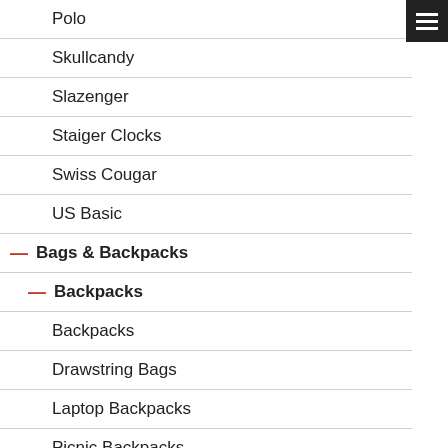Polo
Skullcandy
Slazenger
Staiger Clocks
Swiss Cougar
US Basic
– Bags & Backpacks
– Backpacks
Backpacks
Drawstring Bags
Laptop Backpacks
Picnic Backpacks
– Business Bags
Briefcases
Conference Bags
Document Pouches
Laptop Bags